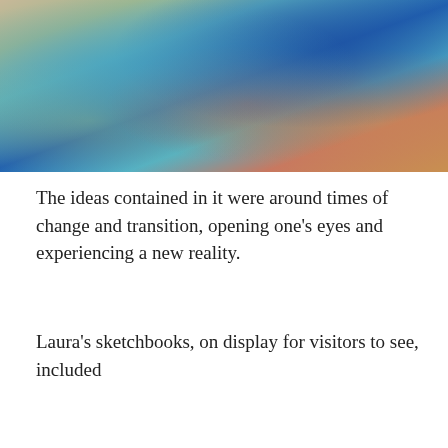[Figure (photo): Photograph of a colorful abstract artwork/tapestry with swirling blue, teal, orange, and beige patterns resembling organic or fluid shapes, displayed on a light surface.]
The ideas contained in it were around times of change and transition, opening one’s eyes and experiencing a new reality.
Laura’s sketchbooks, on display for visitors to see, included
Privacy & Cookies:  This site uses cookies. By continuing to use this website, you agree to their use.
To find out more, including how to control cookies, see here: Our Cookie Policy
Close and accept